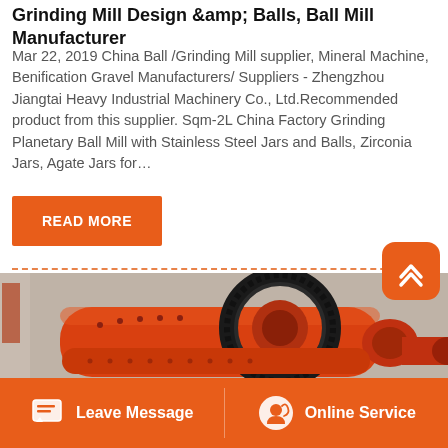Grinding Mill Design &amp; Balls, Ball Mill Manufacturer
Mar 22, 2019 China Ball /Grinding Mill supplier, Mineral Machine, Benification Gravel Manufacturers/ Suppliers - Zhengzhou Jiangtai Heavy Industrial Machinery Co., Ltd.Recommended product from this supplier. Sqm-2L China Factory Grinding Planetary Ball Mill with Stainless Steel Jars and Balls, Zirconia Jars, Agate Jars for…
READ MORE
[Figure (photo): Industrial orange ball mill machine with large black gear ring, photographed in a factory setting]
Leave Message   Online Service